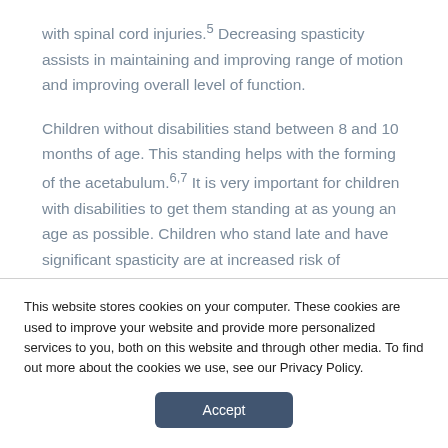with spinal cord injuries.5 Decreasing spasticity assists in maintaining and improving range of motion and improving overall level of function.
Children without disabilities stand between 8 and 10 months of age. This standing helps with the forming of the acetabulum.6,7 It is very important for children with disabilities to get them standing at as young an age as possible. Children who stand late and have significant spasticity are at increased risk of developing hip subluxation as they grow. Standing will
This website stores cookies on your computer. These cookies are used to improve your website and provide more personalized services to you, both on this website and through other media. To find out more about the cookies we use, see our Privacy Policy.